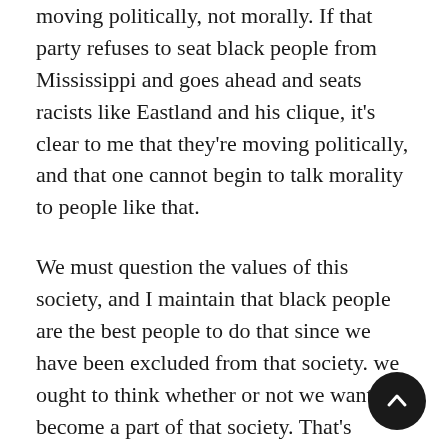moving politically, not morally. If that party refuses to seat black people from Mississippi and goes ahead and seats racists like Eastland and his clique, it's clear to me that they're moving politically, and that one cannot begin to talk morality to people like that.
We must question the values of this society, and I maintain that black people are the best people to do that since we have been excluded from that society. we ought to think whether or not we want to become a part of that society. That's precisely what the Student Nonviolent Coordinating Committee is doing. We are raising questions about this country. I do not want to be a part of the